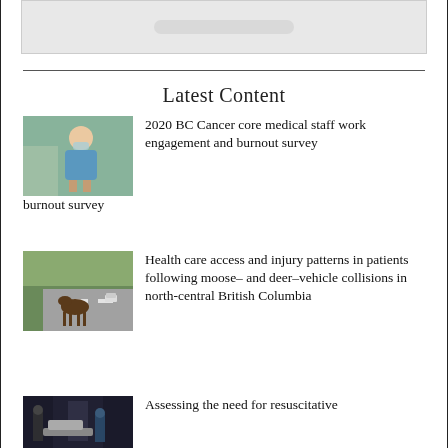[Figure (photo): Partial top image, cropped at top of page, light grey/white background visible]
Latest Content
[Figure (photo): Healthcare worker in blue scrubs and mask writing/working, outdoor background]
2020 BC Cancer core medical staff work engagement and burnout survey
[Figure (photo): Moose standing on a road with a car in background and trees on the side]
Health care access and injury patterns in patients following moose– and deer–vehicle collisions in north-central British Columbia
[Figure (photo): Medical personnel in dark corridor with a patient on a gurney/stretcher]
Assessing the need for resuscitative